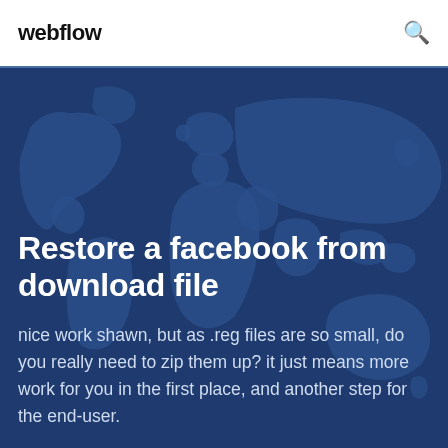webflow
[Figure (illustration): World map illustration on dark blue background used as hero section backdrop]
Restore a facebook from download file
nice work shawn, but as .reg files are so small, do you really need to zip them up? it just means more work for you in the first place, and another step for the end-user.